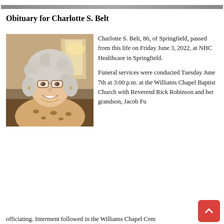Obituary for Charlotte S. Belt
[Figure (photo): Portrait photo of Charlotte S. Belt, an elderly woman with curly white/gray hair, glasses, smiling, wearing a leopard-print top]
Charlotte S. Belt, 86, of Springfield, passed from this life on Friday June 3, 2022, at NHC Healthcare in Springfield.
Funeral services were conducted Tuesday June 7th at 3:00 p.m. at the Williams Chapel Baptist Church with Reverend Rick Robinson and her grandson, Jacob Fu... officiating. Interment followed in the Williams Chapel Cem...